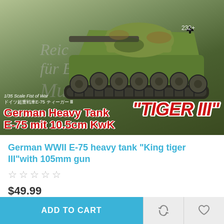[Figure (photo): Product image of a 1/35 scale model kit box for German WWII heavy tank E-75 Tiger III with 105mm gun, showing a camouflaged tank model with red text overlay and Tiger III badge]
German WWII E-75 heavy tank "King tiger III"with 105mm gun
☆☆☆☆☆
$49.99
ADD TO CART